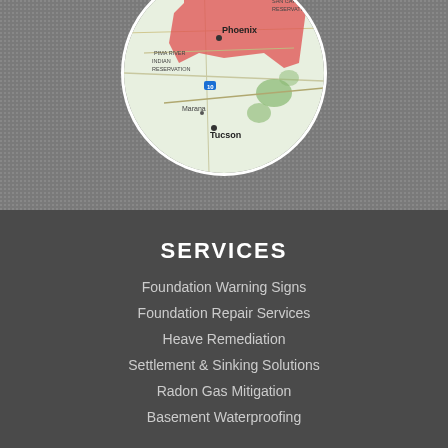[Figure (map): A circular cropped map showing the state of Arizona with a red shaded region covering Phoenix and surrounding areas, with cities labeled including Phoenix, Tucson, Marana, and geographic features like Gila National Forest and Indian Reservation.]
SERVICES
Foundation Warning Signs
Foundation Repair Services
Heave Remediation
Settlement & Sinking Solutions
Radon Gas Mitigation
Basement Waterproofing